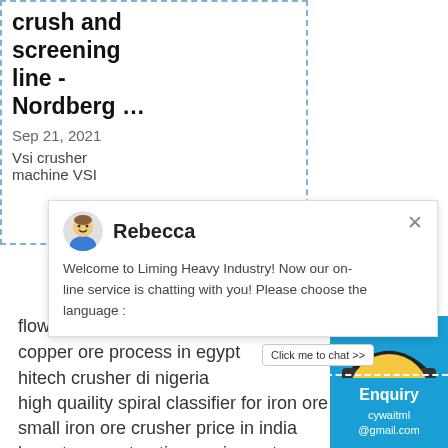crush and screening line - Nordberg …
Sep 21, 2021
Vsi crusher machine VSI
Rebecca
Welcome to Liming Heavy Industry! Now our on-line service is chatting with you! Please choose the language :
designed for
flow chart of stone crushing plant how muc…
copper ore process in egypt
hitech crusher di nigeria
high quaility spiral classifier for iron ore in m…
small iron ore crusher price in india
komatsu construction equipment
[Figure (screenshot): Chat widget with smiley face avatar wearing headphones, badge showing '1', and 'Click me to chat >>' button on blue background]
Enquiry
cywaitml@gmail.com